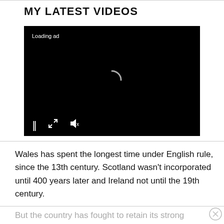MY LATEST VIDEOS
[Figure (screenshot): Video player showing black screen with 'Loading ad' text and a spinning loading indicator. Controls show pause, expand, and mute icons at the bottom.]
Wales has spent the longest time under English rule, since the 13th century. Scotland wasn't incorporated until 400 years later and Ireland not until the 19th century.
But the country has fought to retain its strong